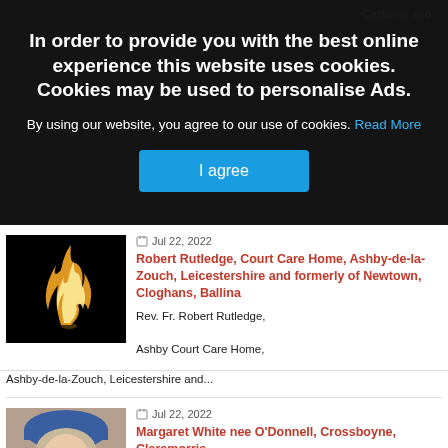In order to provide you with the best online experience this website uses cookies. Cookies may be used to personalise Ads.
By using our website, you agree to our use of cookies. Read More
I agree
Jul 22, 2022
Robert Rutledge, Ashby Court Care Home, Ashby-de-la-Zouch, Leicestershire and formerly of Newtown, Cloghans, Ballina
Rev. Fr. Robert Rutledge, Ashby Court Care Home, Ashby-de-la-Zouch, Leicestershire and...
Jul 22, 2022
Margaret White nee O'Donnell, Crossboyne, Claremorris
Margaret White nee O'Donnell